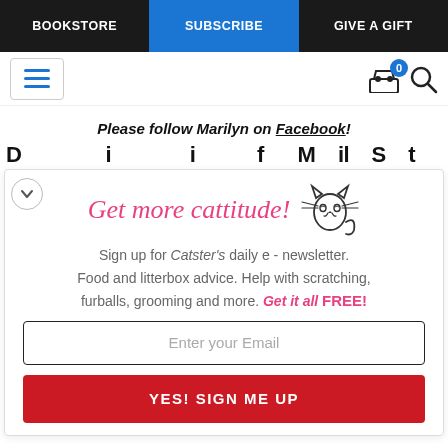BOOKSTORE | SUBSCRIBE | GIVE A GIFT
[Figure (screenshot): Navigation toolbar with hamburger menu icon, shopping cart with badge showing 0, and search icon]
Please follow Marilyn on Facebook!
Get more cattitude!
Sign up for Catster's daily e - newsletter. Food and litterbox advice. Help with scratching, furballs, grooming and more. Get it all FREE!
Enter your Email
YES! SIGN ME UP